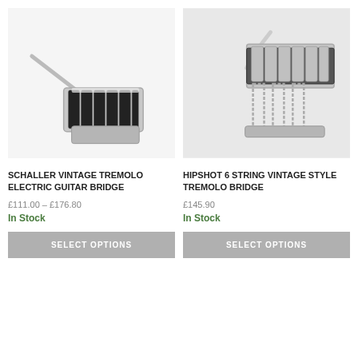[Figure (photo): Schaller Vintage Tremolo Electric Guitar Bridge - chrome bridge with arm, top-down perspective on white background]
[Figure (photo): Hipshot 6 String Vintage Style Tremolo Bridge - chrome bridge with tremolo arm and springs on light grey background]
SCHALLER VINTAGE TREMOLO ELECTRIC GUITAR BRIDGE
£111.00 – £176.80
In Stock
SELECT OPTIONS
HIPSHOT 6 STRING VINTAGE STYLE TREMOLO BRIDGE
£145.90
In Stock
SELECT OPTIONS